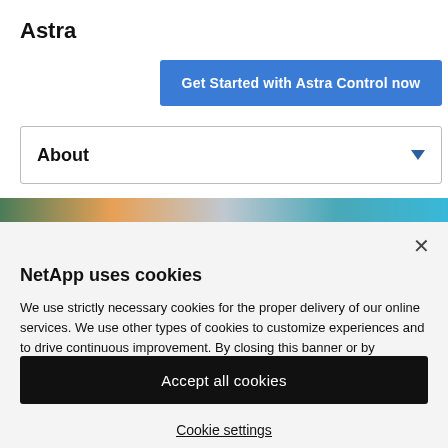Astra
[Figure (other): Blue 'Get Started with Astra Control now' button]
[Figure (other): About dropdown selector with down arrow]
[Figure (photo): Colorful image strip showing food/drink items]
NetApp uses cookies
We use strictly necessary cookies for the proper delivery of our online services. We use other types of cookies to customize experiences and to drive continuous improvement. By closing this banner or by browsing this site, you agree and accept the use of cookies in accordance with our policy.
[Figure (other): Accept all cookies black button]
Cookie settings